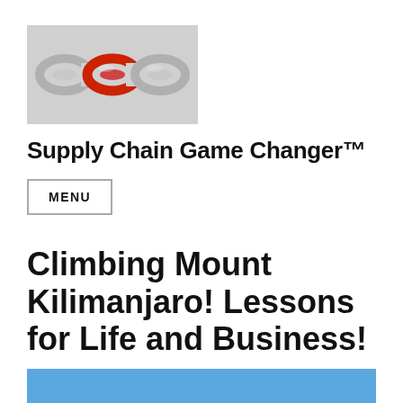[Figure (illustration): Image of chain links with one red link among silver/grey links, on a light grey background — logo image for Supply Chain Game Changer website]
Supply Chain Game Changer™
MENU
Climbing Mount Kilimanjaro! Lessons for Life and Business!
[Figure (other): Blue/sky-blue horizontal bar at the bottom of the page, partial image crop]